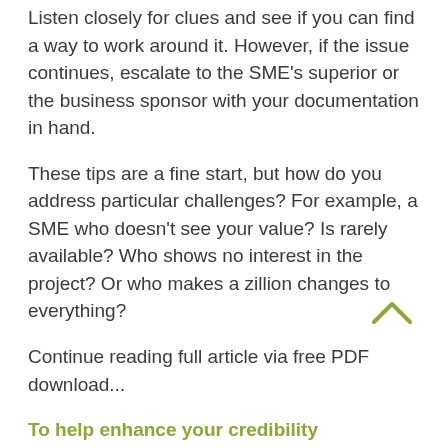Listen closely for clues and see if you can find a way to work around it. However, if the issue continues, escalate to the SME's superior or the business sponsor with your documentation in hand.
These tips are a fine start, but how do you address particular challenges? For example, a SME who doesn't see your value? Is rarely available? Who shows no interest in the project? Or who makes a zillion changes to everything?
Continue reading full article via free PDF download...
To help enhance your credibility